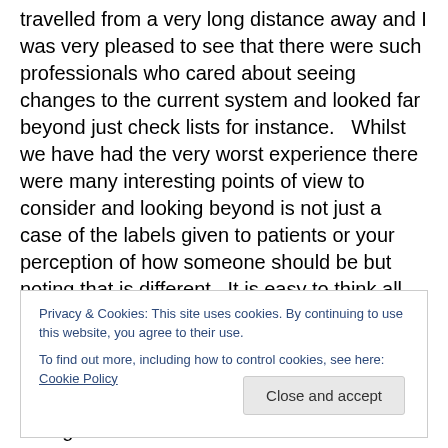travelled from a very long distance away and I was very pleased to see that there were such professionals who cared about seeing changes to the current system and looked far beyond just check lists for instance.   Whilst we have had the very worst experience there were many interesting points of view to consider and looking beyond is not just a case of the labels given to patients or your perception of how someone should be but noting that is different.  It is easy to think all professionals are bad when you have had a bad experience yourself but, talking to those who attended this event made me realise that it
Privacy & Cookies: This site uses cookies. By continuing to use this website, you agree to their use.
To find out more, including how to control cookies, see here: Cookie Policy
Close and accept
sharing which is why I am in favour of open dialogue.